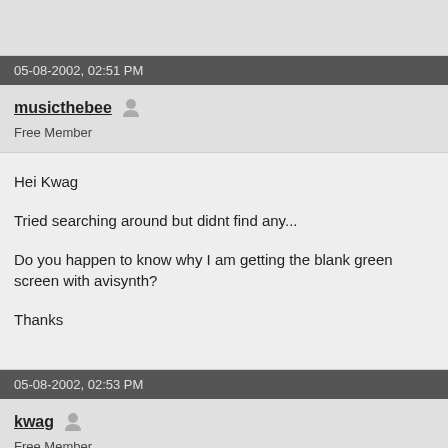05-08-2002, 02:51 PM
musicthebee
Free Member
Hei Kwag

Tried searching around but didnt find any...

Do you happen to know why I am getting the blank green screen with avisynth?

Thanks
05-08-2002, 02:53 PM
kwag
Free Member